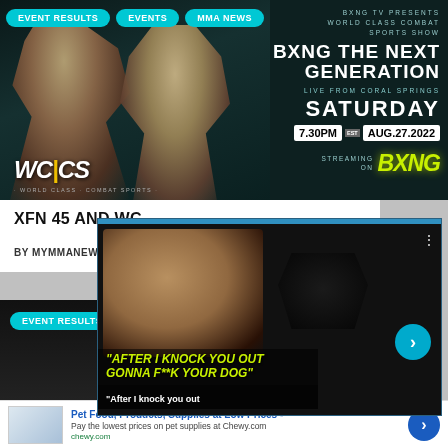EVENT RESULTS | EVENTS | MMA NEWS
[Figure (photo): WCCS promotional banner for 'BXNG THE NEXT GENERATION' event live from Coral Springs, Saturday 7:30PM EST AUG.27.2022, streaming on BXNG. Shows two MMA fighters exchanging punches.]
XFN 45 AND WC...
BY MYMMANEWS   23 ...
[Figure (screenshot): Video player overlay showing two fighters face to face with text: "AFTER I KNOCK YOU OUT I'M GONNA F**K YOUR DOG" and subtitle "After I knock you out"]
[Figure (photo): Second article thumbnail with EVENT RESULTS button, dark background.]
[Figure (advertisement): Ad for Chewy.com: Pet Food, Products, Supplies at Low Prices - Pay the lowest prices on pet supplies at Chewy.com. chewy.com]